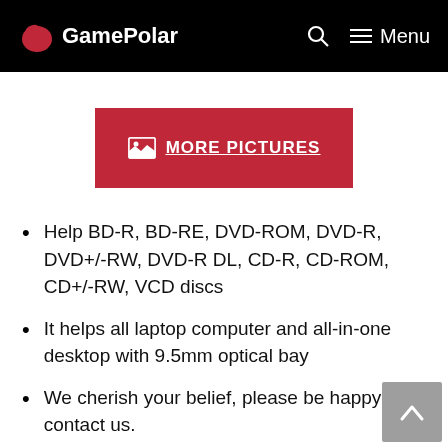GamePolar  Menu
[Figure (other): Red button with image icon and text 'MORE PICTURES']
Help BD-R, BD-RE, DVD-ROM, DVD-R, DVD+/-RW, DVD-R DL, CD-R, CD-ROM, CD+/-RW, VCD discs
It helps all laptop computer and all-in-one desktop with 9.5mm optical bay
We cherish your belief, please be happy to contact us.